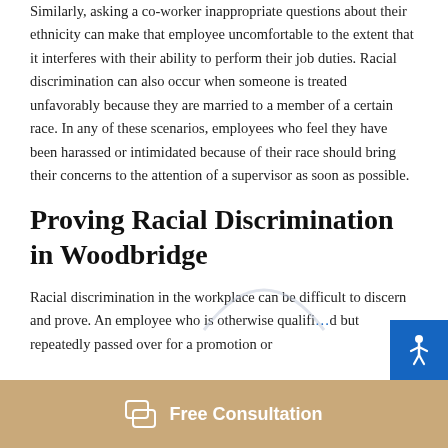Similarly, asking a co-worker inappropriate questions about their ethnicity can make that employee uncomfortable to the extent that it interferes with their ability to perform their job duties. Racial discrimination can also occur when someone is treated unfavorably because they are married to a member of a certain race. In any of these scenarios, employees who feel they have been harassed or intimidated because of their race should bring their concerns to the attention of a supervisor as soon as possible.
Proving Racial Discrimination in Woodbridge
Racial discrimination in the workplace can be difficult to discern and prove. An employee who is otherwise qualified but repeatedly passed over for a promotion or
Free Consultation